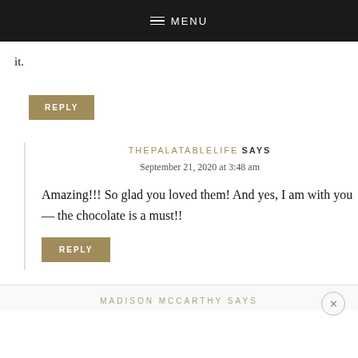≡ MENU
it.
REPLY
THEPALATABLELIFE SAYS
September 21, 2020 at 3:48 am
Amazing!!! So glad you loved them! And yes, I am with you — the chocolate is a must!!
REPLY
MADISON MCCARTHY SAYS